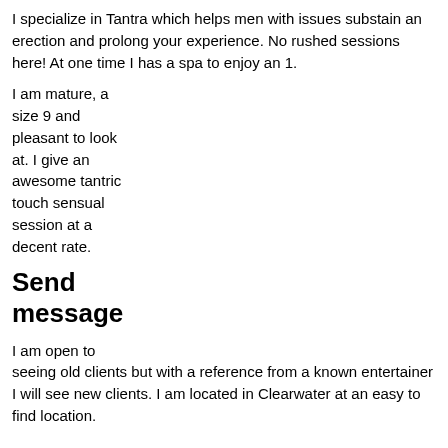I specialize in Tantra which helps men with issues substain an erection and prolong your experience. No rushed sessions here! At one time I has a spa to enjoy an 1.
I am mature, a size 9 and pleasant to look at. I give an awesome tantric touch sensual session at a decent rate.
Send message
I am open to seeing old clients but with a reference from a known entertainer I will see new clients. I am located in Clearwater at an easy to find location.